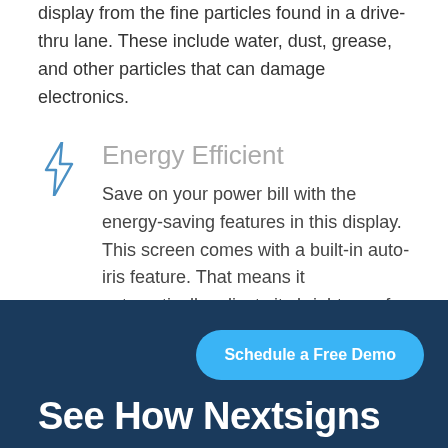display from the fine particles found in a drive-thru lane. These include water, dust, grease, and other particles that can damage electronics.
Energy Efficient
Save on your power bill with the energy-saving features in this display. This screen comes with a built-in auto-iris feature. That means it automatically adjusts its brightness for optimal readability, depending on the lighting around it.
See How Nextsigns
Schedule a Free Demo